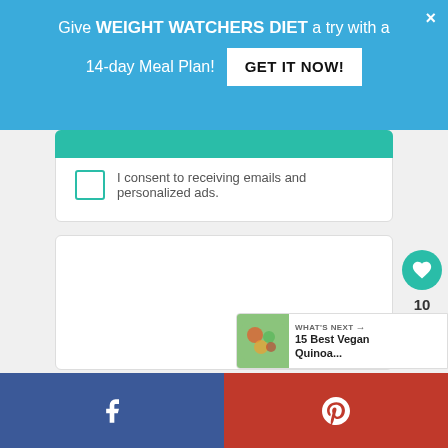Give WEIGHT WATCHERS DIET a try with a 14-day Meal Plan! GET IT NOW!
I consent to receiving emails and personalized ads.
[Figure (screenshot): White card area with teal/green bar at top and empty white space below]
WHAT'S NEXT → 15 Best Vegan Quinoa...
[Figure (infographic): Social sharing buttons: Facebook (blue) and Pinterest (red) at bottom of page]